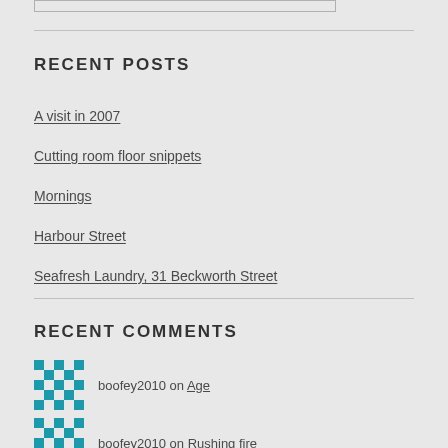RECENT POSTS
A visit in 2007
Cutting room floor snippets
Mornings
Harbour Street
Seafresh Laundry, 31 Beckworth Street
RECENT COMMENTS
boofey2010 on Age
boofey2010 on Rushing fire